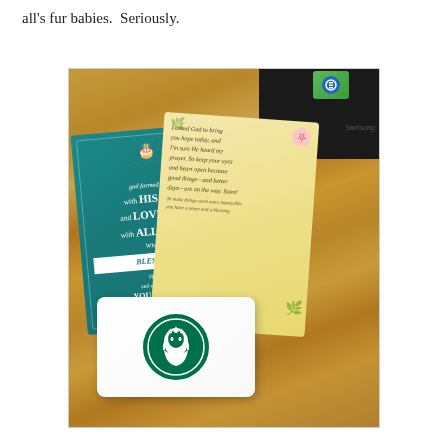all's fur babies.  Seriously.
[Figure (photo): Photo on a wooden table showing a teal greeting card that reads 'god formed you with HIS hands and LOVES you with ALL his heart, What a BLESSING, and what a bl... YOU ARE to...', a floral beige card with a handwritten-style prayer message beginning 'I asked God to bring you hope today, and I'm sure He heard my prayer. So keep your eyes and heart open because good things—and better days—are on the way. Soon!', a Starbucks gift card, and a dark device/laptop in the upper right corner.]